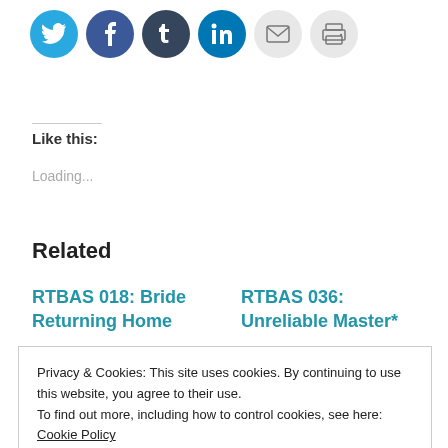[Figure (other): Row of social share icon buttons: Twitter (blue), Facebook (dark blue), Tumblr (dark navy), LinkedIn (blue), Email (grey), Print (grey)]
Like this:
Loading...
Related
RTBAS 018: Bride Returning Home
RTBAS 036: Unreliable Master*
Privacy & Cookies: This site uses cookies. By continuing to use this website, you agree to their use.
To find out more, including how to control cookies, see here: Cookie Policy
deadline for her affection.
Jiu Wangye. She found